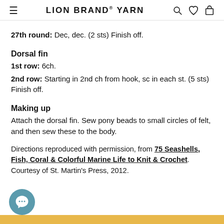LION BRAND® YARN
27th round: Dec, dec. (2 sts) Finish off.
Dorsal fin
1st row: 6ch.
2nd row: Starting in 2nd ch from hook, sc in each st. (5 sts) Finish off.
Making up
Attach the dorsal fin. Sew pony beads to small circles of felt, and then sew these to the body.
Directions reproduced with permission, from 75 Seashells, Fish, Coral & Colorful Marine Life to Knit & Crochet. Courtesy of St. Martin's Press, 2012.